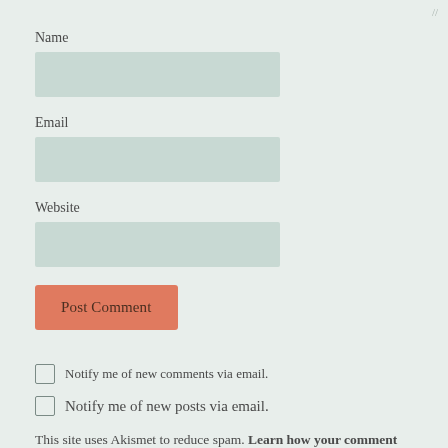Name
[Figure (other): Text input field for Name]
Email
[Figure (other): Text input field for Email]
Website
[Figure (other): Text input field for Website]
[Figure (other): Post Comment button (orange/salmon colored)]
Notify me of new comments via email.
Notify me of new posts via email.
This site uses Akismet to reduce spam. Learn how your comment data is processed.